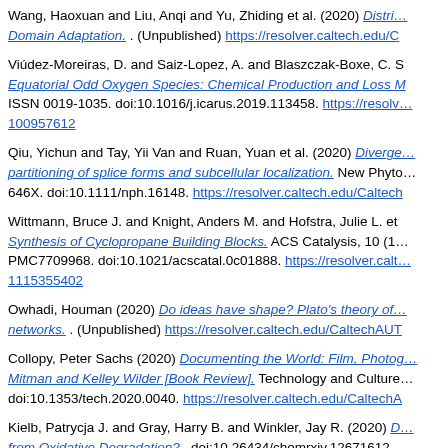Wang, Haoxuan and Liu, Anqi and Yu, Zhiding et al. (2020) Distri... Domain Adaptation. . (Unpublished) https://resolver.caltech.edu/C
Viúdez-Moreiras, D. and Saiz-Lopez, A. and Blaszczak-Boxe, C. S... Equatorial Odd Oxygen Species: Chemical Production and Loss M... ISSN 0019-1035. doi:10.1016/j.icarus.2019.113458. https://resolve... 100957612
Qiu, Yichun and Tay, Yii Van and Ruan, Yuan et al. (2020) Diverge... partitioning of splice forms and subcellular localization. New Phyto... 646X. doi:10.1111/nph.16148. https://resolver.caltech.edu/Caltech
Wittmann, Bruce J. and Knight, Anders M. and Hofstra, Julie L. et... Synthesis of Cyclopropane Building Blocks. ACS Catalysis, 10 (1... PMC7709968. doi:10.1021/acscatal.0c01888. https://resolver.calt... 1115355402
Owhadi, Houman (2020) Do ideas have shape? Plato's theory of... networks. . (Unpublished) https://resolver.caltech.edu/CaltechAUT
Collopy, Peter Sachs (2020) Documenting the World: Film, Photog... Mitman and Kelley Wilder [Book Review]. Technology and Culture... doi:10.1353/tech.2020.0040. https://resolver.caltech.edu/CaltechA
Kielb, Patrycja J. and Gray, Harry B. and Winkler, Jay R. (2020) D... from Oxidative Degradation? . doi:10.26434/chemrxiv.12671612. https://resolver.caltech.edu/CaltechAUTHORS:20200720-145555
Oral, Elif and Weng, Huihui and Ampuero, Jean-Paul (2020) Does...